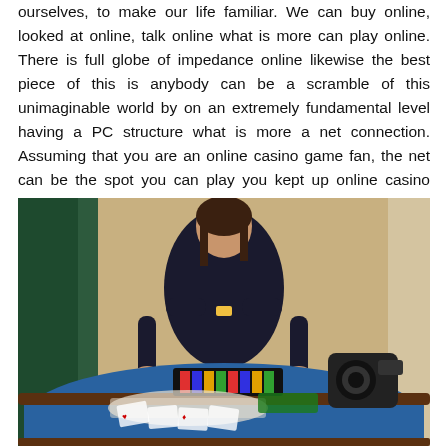ourselves, to make our life familiar. We can buy online, looked at online, talk online what is more can play online. There is full globe of impedance online likewise the best piece of this is anybody can be a scramble of this unimaginable world by on an extremely fundamental level having a PC structure what is more a net connection. Assuming that you are an online casino game fan, the net can be the spot you can play you kept up online casino games without passing on to an online casino website. Web has come to be an unquestionable methodology to play online casino page PC games. Most by a wide edge of the net PC game gives you probability to play to endlessly out free before you really get the conviction to wager good cash.
[Figure (photo): A female casino dealer in a dark uniform standing behind a casino table with poker chips arranged in a tray, cards spread on the blue felt table, and a camera visible on the right. Curtains are visible in the background.]